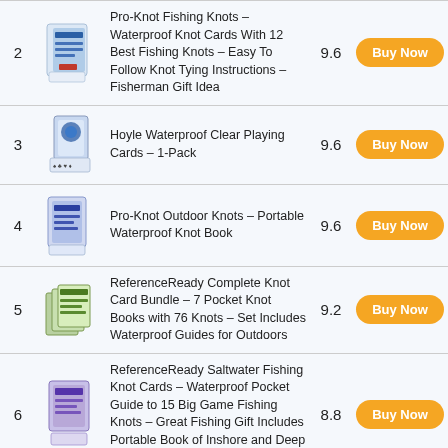| # | Image | Product | Score | Action |
| --- | --- | --- | --- | --- |
| 2 | [image] | Pro-Knot Fishing Knots – Waterproof Knot Cards With 12 Best Fishing Knots – Easy To Follow Knot Tying Instructions – Fisherman Gift Idea | 9.6 | Buy Now |
| 3 | [image] | Hoyle Waterproof Clear Playing Cards – 1-Pack | 9.6 | Buy Now |
| 4 | [image] | Pro-Knot Outdoor Knots – Portable Waterproof Knot Book | 9.6 | Buy Now |
| 5 | [image] | ReferenceReady Complete Knot Card Bundle – 7 Pocket Knot Books with 76 Knots – Set Includes Waterproof Guides for Outdoors | 9.2 | Buy Now |
| 6 | [image] | ReferenceReady Saltwater Fishing Knot Cards – Waterproof Pocket Guide to 15 Big Game Fishing Knots – Great Fishing Gift Includes Portable Book of Inshore and Deep Sea Knots and a Mini Carabiner | 8.8 | Buy Now |
| 7 | [image] | ReferenceReady Boating and Sailing Knot Cards – Waterproof | 8.6 | Buy Now |